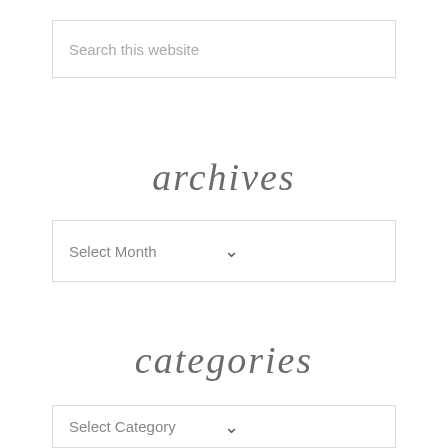Search this website
archives
Select Month
categories
Select Category